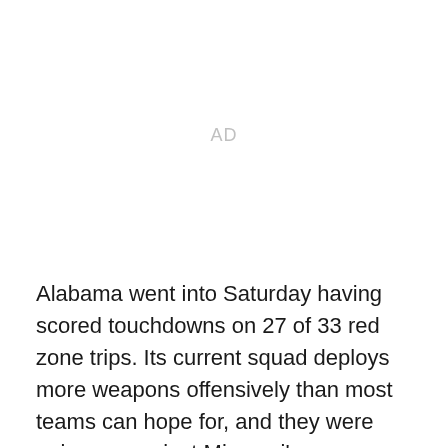[Figure (other): Advertisement placeholder area labeled AD]
Alabama went into Saturday having scored touchdowns on 27 of 33 red zone trips. Its current squad deploys more weapons offensively than most teams can hope for, and they were going up against Missouri's disappointing 2018 defensive unit.